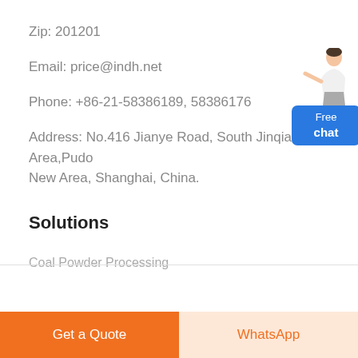Zip: 201201
Email: price@indh.net
Phone: +86-21-58386189, 58386176
Address: No.416 Jianye Road, South Jinqiao Area,Pudong New Area, Shanghai, China.
[Figure (illustration): Free chat widget with a person figure and blue button labeled 'Free chat']
Solutions
Coal Powder Processing
Get a Quote
WhatsApp